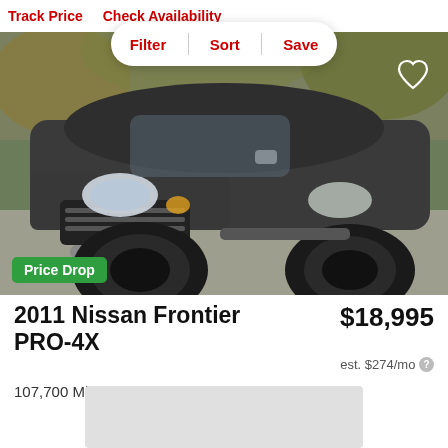Track Price   Check Availability
Filter   Sort   Save
[Figure (photo): Dark gray 2011 Nissan Frontier PRO-4X pickup truck parked in a driveway with autumn leaves in background. Green 'Price Drop' badge visible at lower left. White heart/save icon at upper right.]
2011 Nissan Frontier PRO-4X
$18,995
est. $274/mo
107,700 Miles | Kirkland, WA